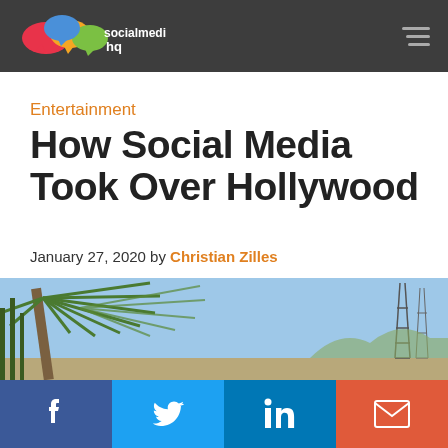socialmedia hq
Entertainment
How Social Media Took Over Hollywood
January 27, 2020 by Christian Zilles
[Figure (photo): Palm tree fronds against a blue sky with communication towers in the background, representing Hollywood]
Social share bar: Facebook, Twitter, LinkedIn, Email